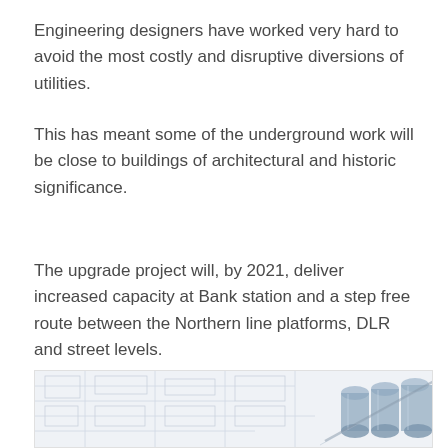Engineering designers have worked very hard to avoid the most costly and disruptive diversions of utilities.
This has meant some of the underground work will be close to buildings of architectural and historic significance.
The upgrade project will, by 2021, deliver increased capacity at Bank station and a step free route between the Northern line platforms, DLR and street levels.
[Figure (engineering-diagram): Architectural or engineering plan drawing overlaid with a 3D rendered illustration of cylindrical tunnel boring or pipe structures, shown in a blue-grey technical style.]